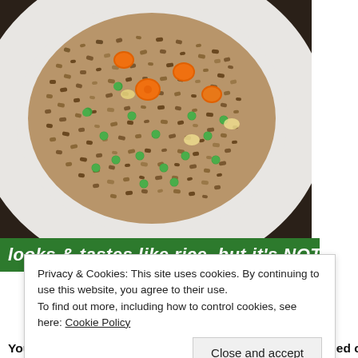[Figure (photo): A white bowl filled with cauliflower fried rice containing green peas, orange carrot pieces, and other vegetables, viewed from above on a dark surface.]
looks & tastes like rice, but it's NOT!
Privacy & Cookies: This site uses cookies. By continuing to use this website, you agree to their use.
To find out more, including how to control cookies, see here: Cookie Policy
Close and accept
You can also check out more Whole30 Recipes we've tried on